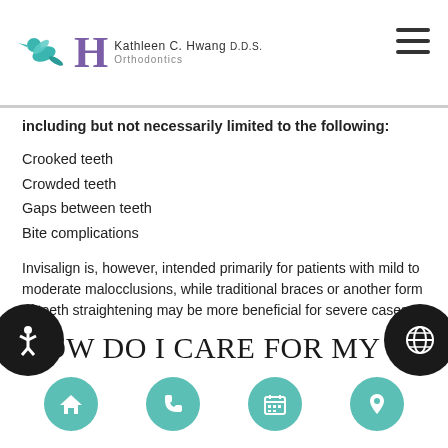Kathleen C. Hwang D.D.S. Orthodontics
including but not necessarily limited to the following:
Crooked teeth
Crowded teeth
Gaps between teeth
Bite complications
Invisalign is, however, intended primarily for patients with mild to moderate malocclusions, while traditional braces or another form of teeth straightening may be more beneficial for severe cases.
How do I care for my Invisalign aligners?
Navigation icons: home, phone, calendar, location